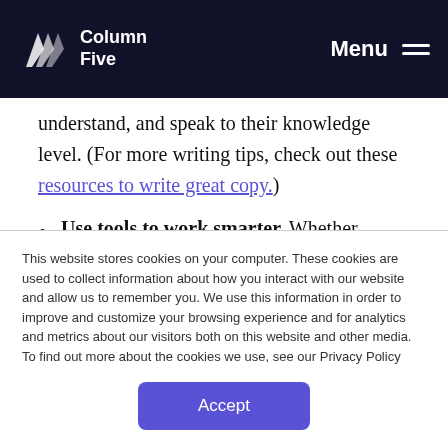Column Five — Menu
understand, and speak to their knowledge level. (For more writing tips, check out these resources to write great copy.)
Use tools to work smarter. Whether you're creating e-books, infographics, or interactives, here are 100+ content creation tools to help you fire up your content...
This website stores cookies on your computer. These cookies are used to collect information about how you interact with our website and allow us to remember you. We use this information in order to improve and customize your browsing experience and for analytics and metrics about our visitors both on this website and other media. To find out more about the cookies we use, see our Privacy Policy
Accept